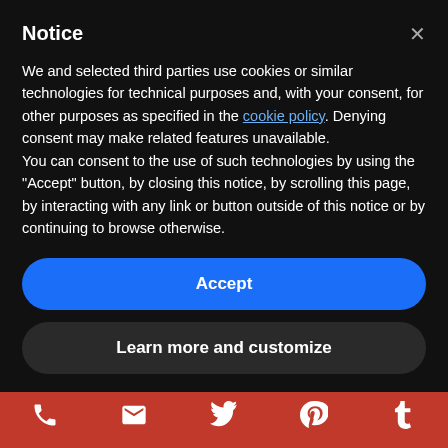Notice
We and selected third parties use cookies or similar technologies for technical purposes and, with your consent, for other purposes as specified in the cookie policy. Denying consent may make related features unavailable.
You can consent to the use of such technologies by using the "Accept" button, by closing this notice, by scrolling this page, by interacting with any link or button outside of this notice or by continuing to browse otherwise.
Accept
Learn more and customize
Terms and Conditions
Privacy and Cookies
[Figure (infographic): Red footer bar with five white social/contact icons: phone, email, Twitter, Pinterest, Tumblr]